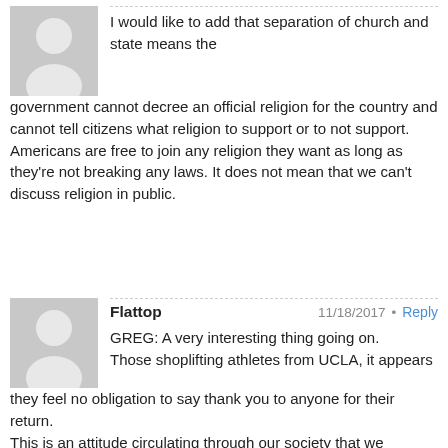[Figure (illustration): Generic grey avatar silhouette icon for anonymous user]
I would like to add that separation of church and state means the government cannot decree an official religion for the country and cannot tell citizens what religion to support or to not support. Americans are free to join any religion they want as long as they're not breaking any laws. It does not mean that we can't discuss religion in public.
[Figure (illustration): Generic grey avatar silhouette icon for user Flattop]
Flattop
11/18/2017 • Reply
GREG: A very interesting thing going on. Those shoplifting athletes from UCLA, it appears they feel no obligation to say thank you to anyone for their return.
This is an attitude circulating through our society that we deserve, therefore , no need to say thank you. Always taking, seldom giving. Is this being taught in our schools today??